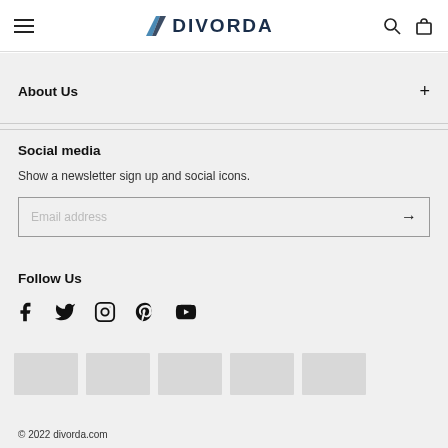NDIVORDA
About Us
Social media
Show a newsletter sign up and social icons.
Email address
Follow Us
[Figure (other): Social media icons: Facebook, Twitter, Instagram, Pinterest, YouTube]
[Figure (other): Five image thumbnails row]
© 2022 divorda.com